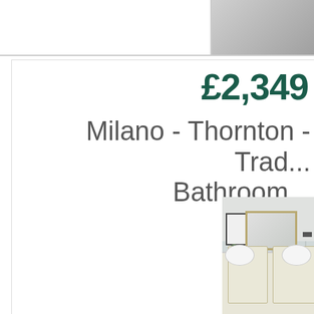[Figure (photo): Top portion of a bathroom product listing page showing two partially visible product cards at the top. The right card shows a cropped bathroom photo.]
£2,349
Milano - Thornton - Traditional Bathroom
[Figure (photo): Bathroom scene showing a traditional vanity unit with two vessel sinks, a large framed mirror, a framed picture on the wall, a toilet, plants, and a wall shelf. Light grey walls with tile backsplash and patterned floor.]